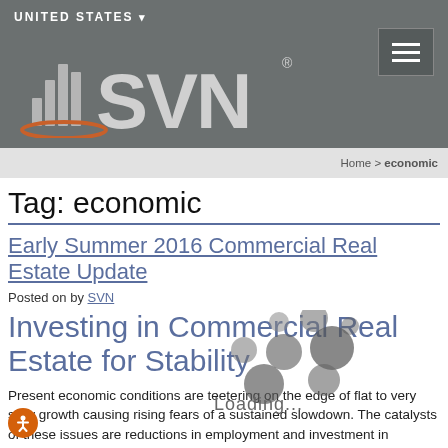UNITED STATES
[Figure (logo): SVN Commercial Real Estate Advisors logo with bar chart icon and oval underline]
Home > economic
Tag: economic
Early Summer 2016 Commercial Real Estate Update
Posted on by SVN
Investing in Commercial Real Estate for Stability
Present economic conditions are teetering on the edge of flat to very slow growth causing rising fears of a sustained slowdown. The catalysts of these issues are reductions in employment and investment in energy...
[Figure (other): Loading animation overlay with spinning dots circles and Loading... text]